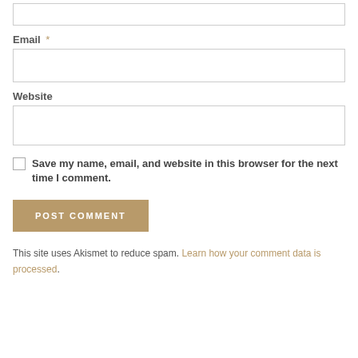Email *
Website
Save my name, email, and website in this browser for the next time I comment.
POST COMMENT
This site uses Akismet to reduce spam. Learn how your comment data is processed.